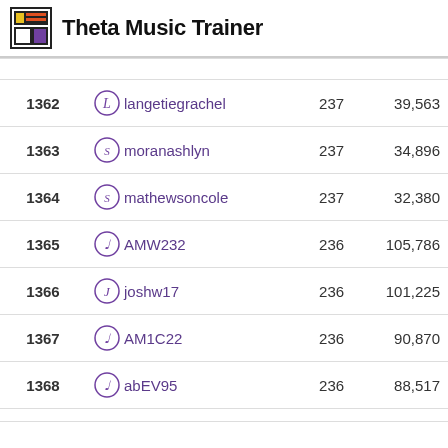Theta Music Trainer
| Rank | User | Count | Score |
| --- | --- | --- | --- |
| 1362 | langetiegrachel | 237 | 39,563 |
| 1363 | moranashlyn | 237 | 34,896 |
| 1364 | mathewsoncole | 237 | 32,380 |
| 1365 | AMW232 | 236 | 105,786 |
| 1366 | joshw17 | 236 | 101,225 |
| 1367 | AM1C22 | 236 | 90,870 |
| 1368 | abEV95 | 236 | 88,517 |